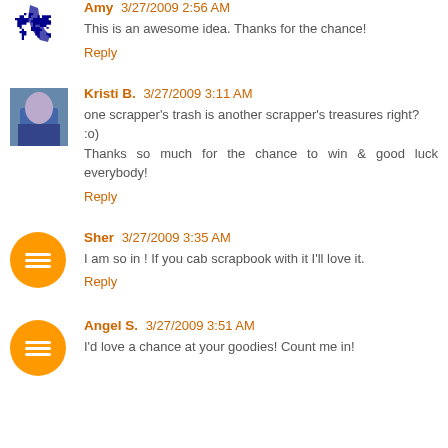Amy 3/27/2009 2:56 AM
This is an awesome idea. Thanks for the chance!
Reply
Kristi B. 3/27/2009 3:11 AM
one scrapper's trash is another scrapper's treasures right? :o)
Thanks so much for the chance to win & good luck everybody!
Reply
Sher 3/27/2009 3:35 AM
I am so in ! If you cab scrapbook with it I'll love it.
Reply
Angel S. 3/27/2009 3:51 AM
I'd love a chance at your goodies! Count me in!